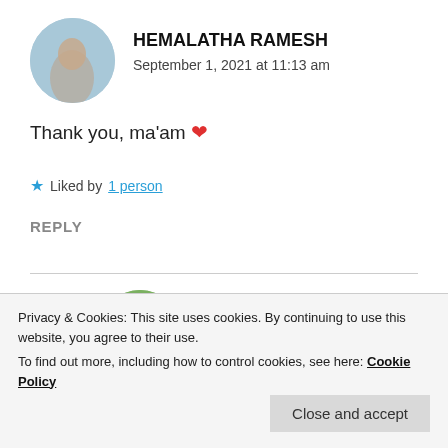[Figure (photo): Circular avatar photo of Hemalatha Ramesh, showing a person against a light blue sky background]
HEMALATHA RAMESH
September 1, 2021 at 11:13 am
Thank you, ma'am ❤
★ Liked by 1 person
REPLY
[Figure (photo): Circular avatar photo of Thattamma C.G Menon, showing a person with green background]
THATTAMMA C.G MENON
Privacy & Cookies: This site uses cookies. By continuing to use this website, you agree to their use.
To find out more, including how to control cookies, see here: Cookie Policy
Close and accept